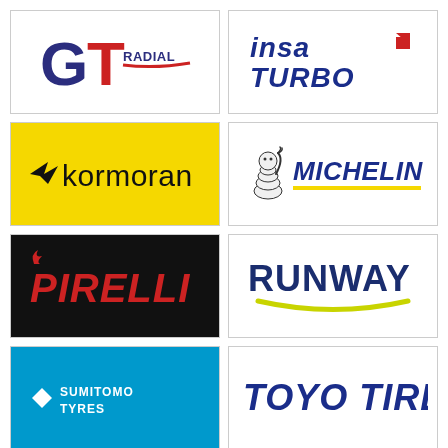[Figure (logo): GT Radial tire brand logo - blue and red GT letters with RADIAL text]
[Figure (logo): Insa Turbo tire brand logo - italic blue and red text with roof shape icon]
[Figure (logo): Kormoran tire brand logo - black text on yellow background with wing symbol]
[Figure (logo): Michelin tire brand logo - Bibendum mascot with blue italic text and yellow underline]
[Figure (logo): Pirelli tire brand logo - red stylized text on black background]
[Figure (logo): Runway tire brand logo - dark blue bold text with yellow smile arc]
[Figure (logo): Sumitomo Tyres logo - white text on blue background with diamond symbol]
[Figure (logo): Toyo Tires logo - bold italic blue text on white background]